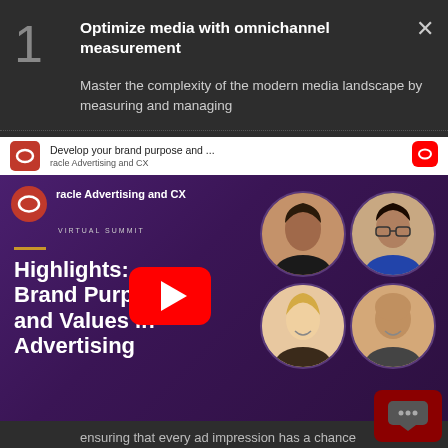1
Optimize media with omnichannel measurement
Master the complexity of the modern media landscape by measuring and managing
[Figure (screenshot): YouTube video thumbnail for Oracle Advertising and CX Virtual Summit - Highlights: Brand Purpose and Values in Advertising, showing four speaker headshots in circles on a purple background with a YouTube play button in the center]
ensuring that every ad impression has a chance to be seen by real humans in brand suitable environments.
Learn how to protect your media